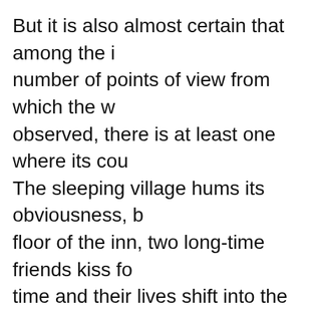But it is also almost certain that among the number of points of view from which the w observed, there is at least one where its cou The sleeping village hums its obviousness, b floor of the inn, two long-time friends kiss f time and their lives shift into the unknown.
It is common in physics to think of the state in terms of a position described by a set of c to x_n. Rather than "state", physicists like to s When a system changes, it moves in phase s contents of a helium tank, for example, will temperature (x1) and pressure (x2). If we hea system, these two variables co-evolve and t